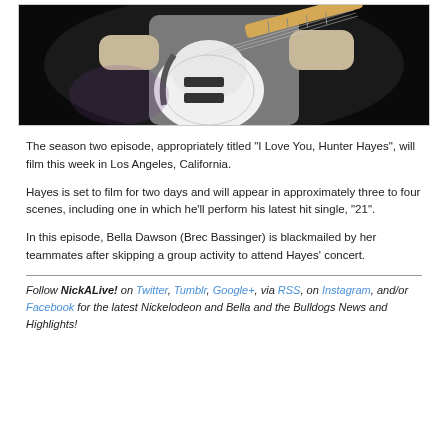[Figure (photo): A man in a grey t-shirt playing a white electric guitar on a dark stage]
The season two episode, appropriately titled "I Love You, Hunter Hayes", will film this week in Los Angeles, California.
Hayes is set to film for two days and will appear in approximately three to four scenes, including one in which he'll perform his latest hit single, "21".
In this episode, Bella Dawson (Brec Bassinger) is blackmailed by her teammates after skipping a group activity to attend Hayes' concert.
Follow NickALive! on Twitter, Tumblr, Google+, via RSS, on Instagram, and/or Facebook for the latest Nickelodeon and Bella and the Bulldogs News and Highlights!